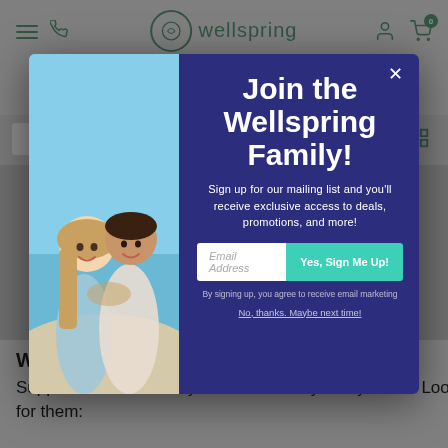wellspring — America's Trusted OTC Store
[Figure (screenshot): Wellspring website popup modal with couple photo on left and newsletter signup form on dark blue background on right. Modal title reads 'Join the Wellspring Family!' with email signup field and teal button 'Yes, Sign Me Up!']
Sign up for our mailing list and you'll receive exclusive access to deals, promotions, and more!
Email Address
Yes, Sign Me Up!
By signing up, you agree to receive email marketing
No, thanks. Maybe next time!
Where are Supplements Available?
Supplements are widely available nearly everywhere. Look for them: